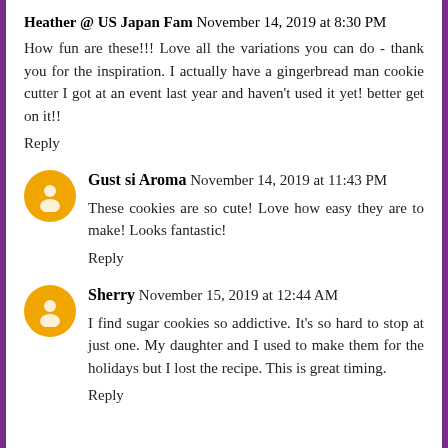Heather @ US Japan Fam  November 14, 2019 at 8:30 PM
How fun are these!!! Love all the variations you can do - thank you for the inspiration. I actually have a gingerbread man cookie cutter I got at an event last year and haven't used it yet! better get on it!!
Reply
Gust si Aroma  November 14, 2019 at 11:43 PM
These cookies are so cute! Love how easy they are to make! Looks fantastic!
Reply
Sherry  November 15, 2019 at 12:44 AM
I find sugar cookies so addictive. It's so hard to stop at just one. My daughter and I used to make them for the holidays but I lost the recipe. This is great timing.
Reply